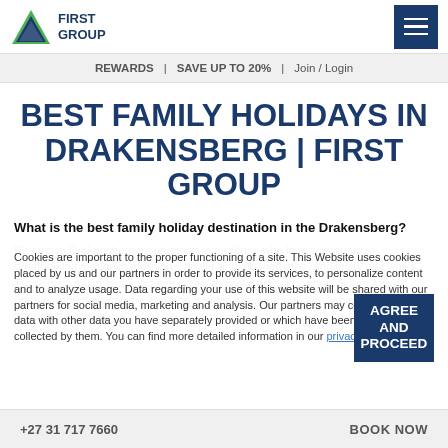First Group logo and navigation header
REWARDS | SAVE UP TO 20% | Join / Login
BEST FAMILY HOLIDAYS IN DRAKENSBERG | FIRST GROUP
What is the best family holiday destination in the Drakensberg?
Resorts in Drakensberg mountains are for those who love waking up to breathtaking mountain mornings, flower-flanked footpaths, and misty day walks...
Cookies are important to the proper functioning of a site. This Website uses cookies placed by us and our partners in order to provide its services, to personalize content and to analyze usage. Data regarding your use of this website will be shared with our partners for social media, marketing and analysis. Our partners may combine this data with other data you have separately provided or which have been separately collected by them. You can find more detailed information in our privacy policy.
+27 31 717 7660   BOOK NOW